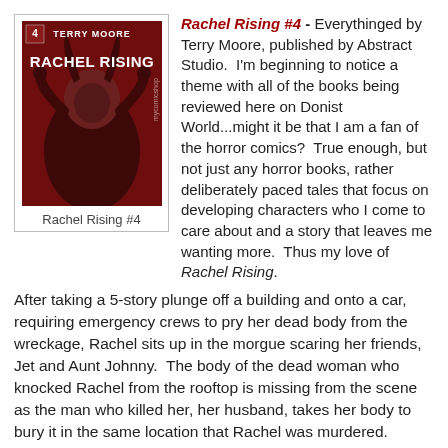[Figure (illustration): Comic book cover of Rachel Rising #4 by Terry Moore. Red toned cover featuring a figure with horns. Text reads TERRY MOORE and RACHEL RISING with a 4 in corner.]
Rachel Rising #4
Rachel Rising #4 - Everythinged by Terry Moore, published by Abstract Studio. I'm beginning to notice a theme with all of the books being reviewed here on Donist World...might it be that I am a fan of the horror comics? True enough, but not just any horror books, rather deliberately paced tales that focus on developing characters who I come to care about and a story that leaves me wanting more. Thus my love of Rachel Rising.
After taking a 5-story plunge off a building and onto a car, requiring emergency crews to pry her dead body from the wreckage, Rachel sits up in the morgue scaring her friends, Jet and Aunt Johnny. The body of the dead woman who knocked Rachel from the rooftop is missing from the scene as the man who killed her, her husband, takes her body to bury it in the same location that Rachel was murdered. Many odd events follow involving snakes, a murderous child